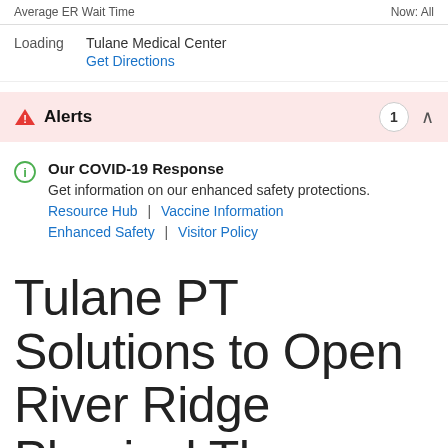Average ER Wait Time  |  Now: All
Loading   Tulane Medical Center
Get Directions
Alerts  1
Our COVID-19 Response
Get information on our enhanced safety protections.
Resource Hub  |  Vaccine Information
Enhanced Safety  |  Visitor Policy
Tulane PT Solutions to Open River Ridge Physical Therapy